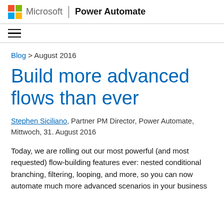Microsoft | Power Automate
Blog > August 2016
Build more advanced flows than ever
Stephen Siciliano, Partner PM Director, Power Automate, Mittwoch, 31. August 2016
Today, we are rolling out our most powerful (and most requested) flow-building features ever: nested conditional branching, filtering, looping, and more, so you can now automate much more advanced scenarios in your business...